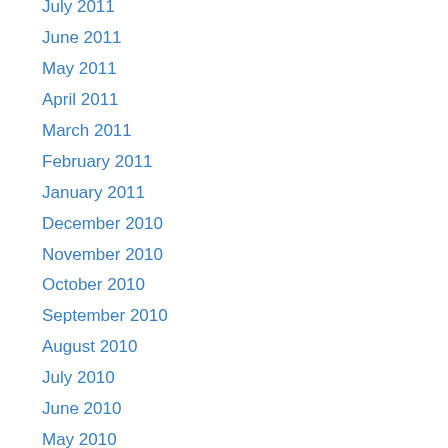July 2011
June 2011
May 2011
April 2011
March 2011
February 2011
January 2011
December 2010
November 2010
October 2010
September 2010
August 2010
July 2010
June 2010
May 2010